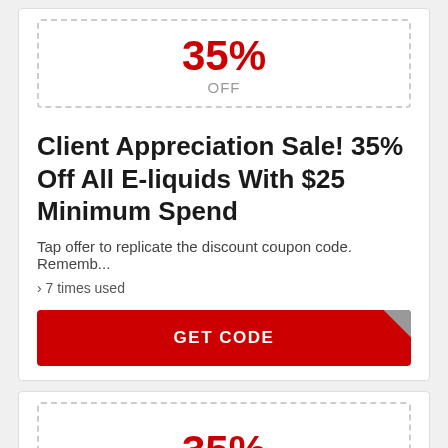[Figure (infographic): Coupon badge showing 35% OFF in a dashed border ticket]
Client Appreciation Sale! 35% Off All E-liquids With $25 Minimum Spend
Tap offer to replicate the discount coupon code. Rememb...
› 7 times used
GET CODE
[Figure (infographic): Second coupon badge showing 35% OFF in a dashed border ticket (partially visible)]